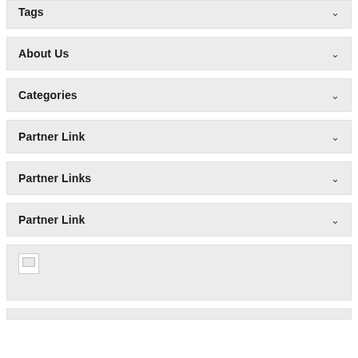Tags
About Us
Categories
Partner Link
Partner Links
Partner Link
[Figure (other): Broken image placeholder icon]